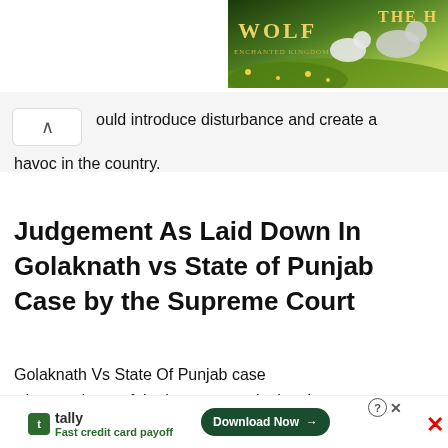[Figure (photo): Wolf-themed game advertisement banner with wolves in a meadow, gold text reading WOLF and THE H (partially visible)]
...ould introduce disturbance and create a havoc in the country.
Judgement As Laid Down In Golaknath vs State of Punjab Case by the Supreme Court
Golaknath Vs State Of Punjab case witnessed one of the largest constitutional b... chief
[Figure (screenshot): Tally app advertisement banner at bottom: Fast credit card payoff, Download Now button, close controls]